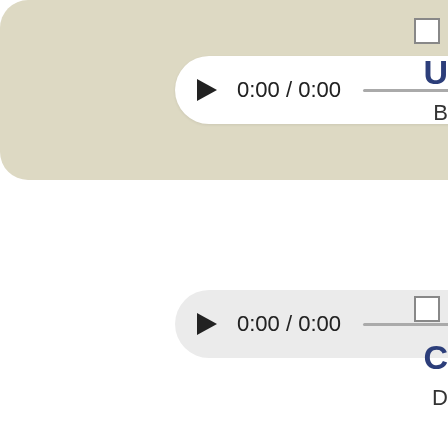[Figure (screenshot): Audio player widget 1 with beige background, showing play button, time 0:00 / 0:00, progress bar, volume icon, and more options icon. White pill-shaped player on beige rounded rectangle background.]
[Figure (screenshot): Audio player widget 2 standalone (light gray background), showing play button, time 0:00 / 0:00, progress bar, volume icon, and more options icon.]
[Figure (screenshot): Audio player widget 3 with beige background, showing play button, time 0:00 / 0:00, progress bar, volume icon, and more options icon. White pill-shaped player on beige rounded rectangle background.]